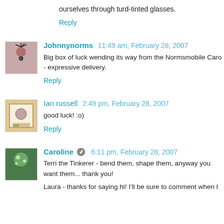ourselves through turd-tinted glasses.
Reply
Johnnynorms 11:49 am, February 28, 2007
Big box of luck wending its way from the Normsmobile Caro - expressive delivery.
Reply
Ian russell 2:49 pm, February 28, 2007
good luck! :o)
Reply
Caroline 6:11 pm, February 28, 2007
Terri the Tinkerer - bend them, shape them, anyway you want them... thank you!
Laura - thanks for saying hi! I'll be sure to comment when I